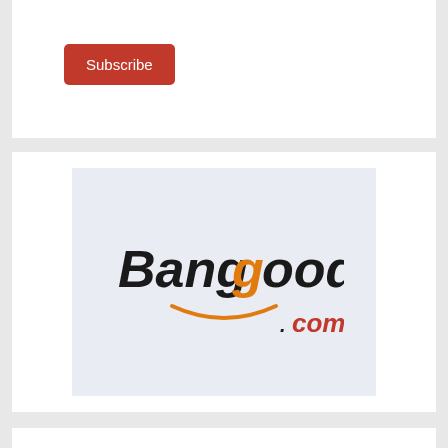Subscribe
[Figure (logo): Banggood.com logo: 'Bang' in bold black italic, 'g' in bold orange italic, 'ood' in bold black italic, with an orange smile arc below and '.com' in red italic]